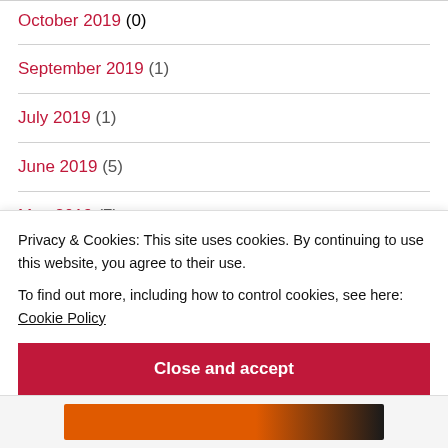October 2019 (0)
September 2019 (1)
July 2019 (1)
June 2019 (5)
May 2019 (7)
April 2019 (31)
Privacy & Cookies: This site uses cookies. By continuing to use this website, you agree to their use.
To find out more, including how to control cookies, see here: Cookie Policy
Close and accept